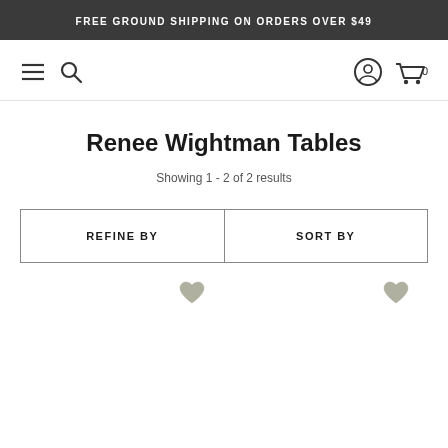FREE GROUND SHIPPING ON ORDERS OVER $49
Renee Wightman Tables
Showing 1 - 2 of 2 results
| REFINE BY | SORT BY |
| --- | --- |
[Figure (illustration): Two product cards with grey heart/wishlist icons, product images not fully visible]